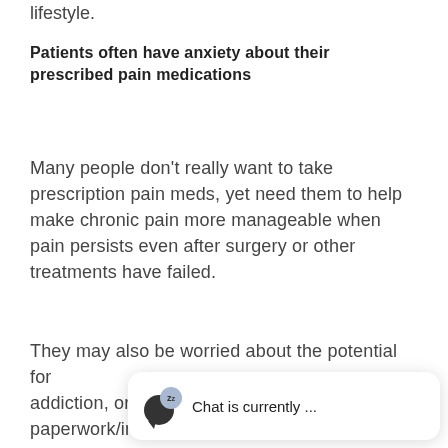lifestyle.
Patients often have anxiety about their prescribed pain medications
Many people don’t really want to take prescription pain meds, yet need them to help make chronic pain more manageable when pain persists even after surgery or other treatments have failed.
They may also be worried about the pote… addiction, or iss… paperwork/insurance that can delay the pain medicine they
[Figure (screenshot): Chat widget overlay showing a sleeping/inactive chat icon with 'Chat is currently ...' text]